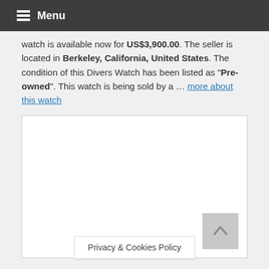Menu
watch is available now for US$3,900.00. The seller is located in Berkeley, California, United States. The condition of this Divers Watch has been listed as "Pre-owned". This watch is being sold by a … more about this watch
[Figure (other): White empty box representing an image placeholder area, with a scroll-to-top button in the bottom right corner and a Privacy & Cookies Policy banner at the bottom center.]